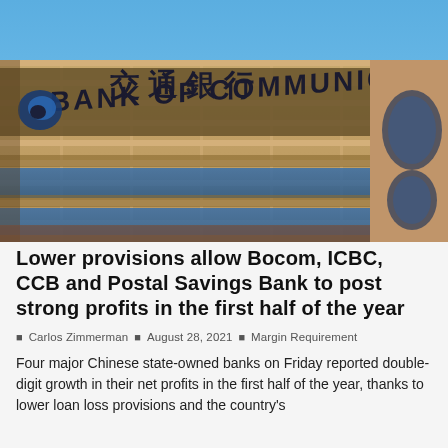[Figure (photo): Photo of Bank of Communications building exterior showing signage with Chinese characters and 'BANK OF COMMUNICATIONS' in English, against a blue sky. Beige tiled facade with blue glass windows and curved corner architectural features.]
Lower provisions allow Bocom, ICBC, CCB and Postal Savings Bank to post strong profits in the first half of the year
Carlos Zimmerman  August 28, 2021  Margin Requirement
Four major Chinese state-owned banks on Friday reported double-digit growth in their net profits in the first half of the year, thanks to lower loan loss provisions and the country's